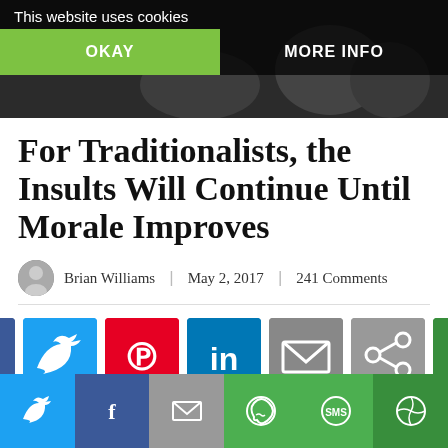This website uses cookies
OKAY | MORE INFO
[Figure (photo): Dark background website header image]
For Traditionalists, the Insults Will Continue Until Morale Improves
Brian Williams | May 2, 2017 | 241 Comments
[Figure (infographic): Social share buttons row: Facebook, Twitter, Pinterest, LinkedIn, Email, Share, More]
The standard complaint against traditionalists, that we are demanding and obnoxious, has surfaced yet
Twitter | Facebook | Email | WhatsApp | SMS | More